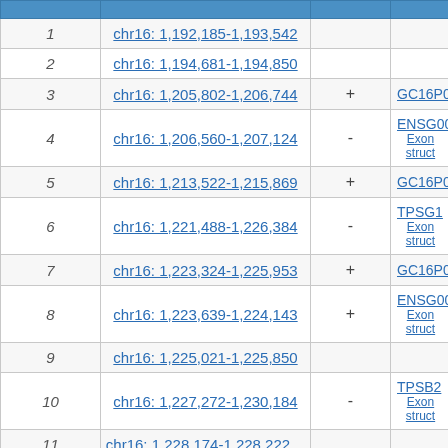|  | Genomic Location (GRCh38/hg38) |  |  |
| --- | --- | --- | --- |
| 1 | chr16: 1,192,185-1,193,542 |  |  |
| 2 | chr16: 1,194,681-1,194,850 |  |  |
| 3 | chr16: 1,205,802-1,206,744 | + | GC16P0012… |
| 4 | chr16: 1,206,560-1,207,124 | - | ENSG00000…
Exon struct |
| 5 | chr16: 1,213,522-1,215,869 | + | GC16P0012… |
| 6 | chr16: 1,221,488-1,226,384 | - | TPSG1
Exon struct |
| 7 | chr16: 1,223,324-1,225,953 | + | GC16P0012… |
| 8 | chr16: 1,223,639-1,224,143 | + | ENSG00000…
Exon struct |
| 9 | chr16: 1,225,021-1,225,850 |  |  |
| 10 | chr16: 1,227,272-1,230,184 | - | TPSB2
Exon struct |
| 11 | chr16: 1,228,174-1,228,222… |  |  |